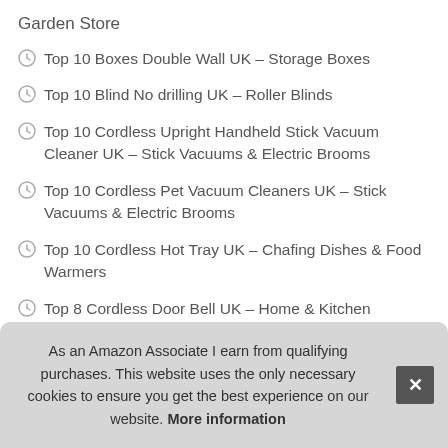Garden Store
Top 10 Boxes Double Wall UK – Storage Boxes
Top 10 Blind No drilling UK – Roller Blinds
Top 10 Cordless Upright Handheld Stick Vacuum Cleaner UK – Stick Vacuums & Electric Brooms
Top 10 Cordless Pet Vacuum Cleaners UK – Stick Vacuums & Electric Brooms
Top 10 Cordless Hot Tray UK – Chafing Dishes & Food Warmers
Top 8 Cordless Door Bell UK – Home & Kitchen
As an Amazon Associate I earn from qualifying purchases. This website uses the only necessary cookies to ensure you get the best experience on our website. More information